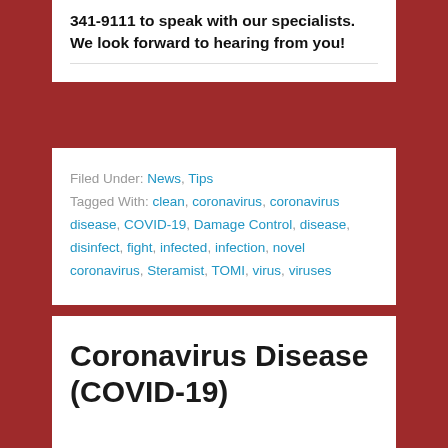341-9111 to speak with our specialists. We look forward to hearing from you!
Filed Under: News, Tips
Tagged With: clean, coronavirus, coronavirus disease, COVID-19, Damage Control, disease, disinfect, fight, infected, infection, novel coronavirus, Steramist, TOMI, virus, viruses
Coronavirus Disease (COVID-19)